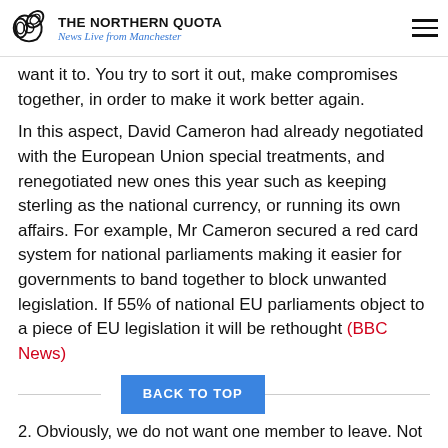THE NORTHERN QUOTA — News Live from Manchester
want it to. You try to sort it out, make compromises together, in order to make it work better again.
In this aspect, David Cameron had already negotiated with the European Union special treatments, and renegotiated new ones this year such as keeping sterling as the national currency, or running its own affairs. For example, Mr Cameron secured a red card system for national parliaments making it easier for governments to band together to block unwanted legislation. If 55% of national EU parliaments object to a piece of EU legislation it will be rethought (BBC News)
2. Obviously, we do not want one member to leave. Not only does this affect all of us, but it seems like we